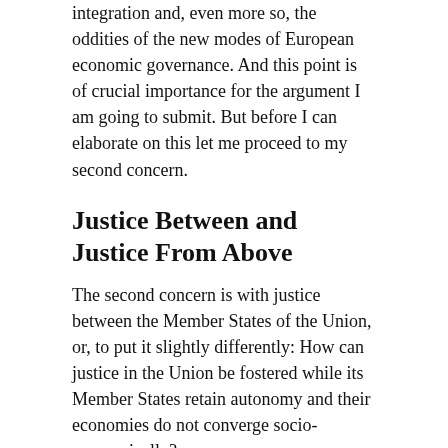integration and, even more so, the oddities of the new modes of European economic governance. And this point is of crucial importance for the argument I am going to submit. But before I can elaborate on this let me proceed to my second concern.
Justice Between and Justice From Above
The second concern is with justice between the Member States of the Union, or, to put it slightly differently: How can justice in the Union be fostered while its Member States retain autonomy and their economies do not converge socio-economically?
Magister Aldricus of Bologna is the founding father of a discipline which seeks to answer precisely this question. Let’s move forward 700 years. In what has been praised as a Copernican turn, Germany’s juridical mastermind